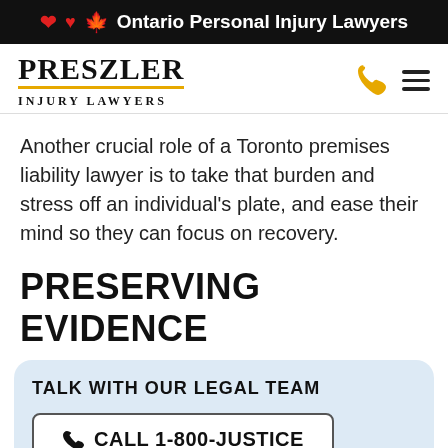🍁 Ontario Personal Injury Lawyers
[Figure (logo): Preszler Injury Lawyers logo with gold underline, phone icon, and hamburger menu]
Another crucial role of a Toronto premises liability lawyer is to take that burden and stress off an individual's plate, and ease their mind so they can focus on recovery.
PRESERVING EVIDENCE
TALK WITH OUR LEGAL TEAM
CALL 1-800-JUSTICE